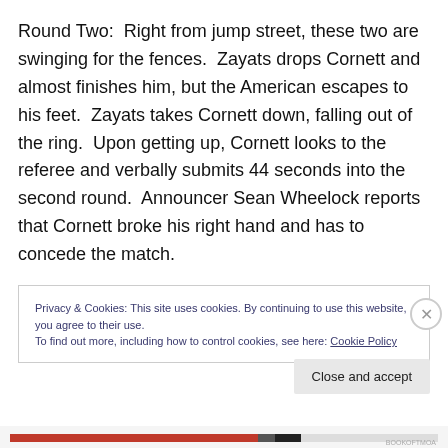Round Two:  Right from jump street, these two are swinging for the fences.  Zayats drops Cornett and almost finishes him, but the American escapes to his feet.  Zayats takes Cornett down, falling out of the ring.  Upon getting up, Cornett looks to the referee and verbally submits 44 seconds into the second round.  Announcer Sean Wheelock reports that Cornett broke his right hand and has to concede the match.
Privacy & Cookies: This site uses cookies. By continuing to use this website, you agree to their use.
To find out more, including how to control cookies, see here: Cookie Policy